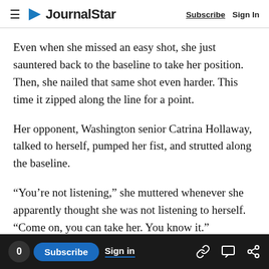Journal Star  Subscribe  Sign In
Even when she missed an easy shot, she just sauntered back to the baseline to take her position. Then, she nailed that same shot even harder. This time it zipped along the line for a point.
Her opponent, Washington senior Catrina Hollaway, talked to herself, pumped her fist, and strutted along the baseline.
“You’re not listening,” she muttered whenever she apparently thought she was not listening to herself. “Come on, you can take her. You know it.”
0  Subscribe  Sign in